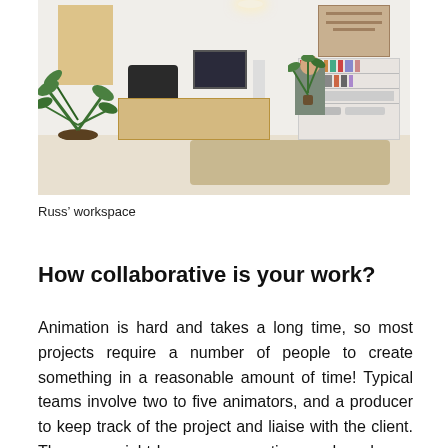[Figure (photo): Office workspace photo showing desks, computers, plants, a person working in background, bookshelves, and warm wooden furniture on a light wood floor with a rug]
Russ’ workspace
How collaborative is your work?
Animation is hard and takes a long time, so most projects require a number of people to create something in a reasonable amount of time! Typical teams involve two to five animators, and a producer to keep track of the project and liaise with the client. Then you might have more creatives and producers depending on the size of